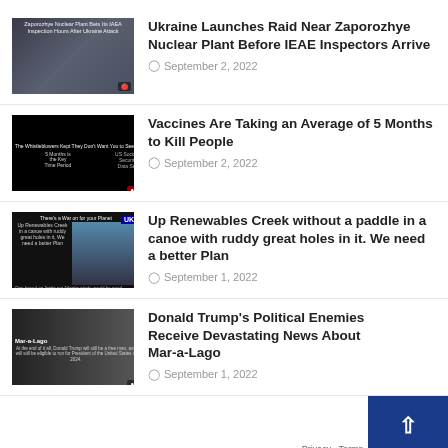[Figure (photo): Thumbnail image for Ukraine nuclear plant article - dark military/nuclear scene]
Ukraine Launches Raid Near Zaporozhye Nuclear Plant Before IEAE Inspectors Arrive
September 2, 2022
[Figure (photo): Thumbnail image for vaccines article - chart and text on dark background]
Vaccines Are Taking an Average of 5 Months to Kill People
September 2, 2022
[Figure (photo): Thumbnail image for renewables article - wind turbines on dark background with UK badge]
Up Renewables Creek without a paddle in a canoe with ruddy great holes in it. We need a better Plan
September 1, 2022
[Figure (photo): Thumbnail image for Mar-a-Lago article - Trump image with dark background]
Donald Trump's Political Enemies Receive Devastating News About Mar-a-Lago
September 1, 2022